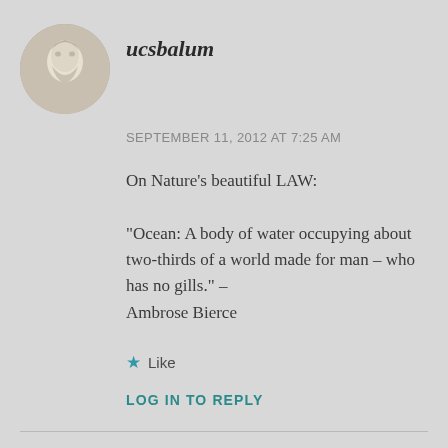[Figure (illustration): Circular avatar showing a classical Greek/Roman marble bust sculpture of a bearded man]
ucsbalum
SEPTEMBER 11, 2012 AT 7:25 AM
On Nature's beautiful LAW:

"Ocean: A body of water occupying about two-thirds of a world made for man – who has no gills." –
Ambrose Bierce
★ Like
LOG IN TO REPLY